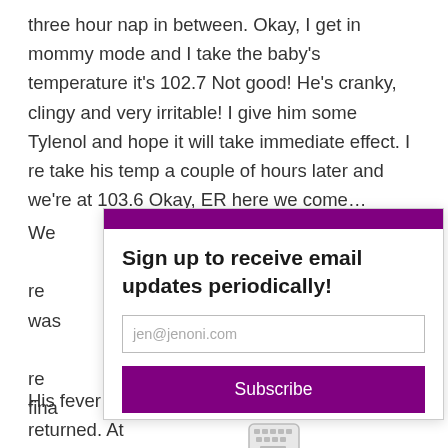three hour nap in between. Okay, I get in mommy mode and I take the baby's temperature it's 102.7 Not good! He's cranky, clingy and very irritable! I give him some Tylenol and hope it will take immediate effect. I re take his temp a couple of hours later and we're at 103.6 Okay, ER here we come...
We [obscured by modal] was [obscured] re fina [obscured] e two [obscured] n our [obscured] s aris [obscured] e's noth [obscured] at just [obscured] hug [obscured] e of T[obscured] His fever did go down for a moment and then returned. At
[Figure (screenshot): Email subscription modal popup with purple header bar, bold title 'Sign up to receive email updates periodically!', email input field showing 'jen@jenoni.com', purple Subscribe button, and a keyboard icon below.]